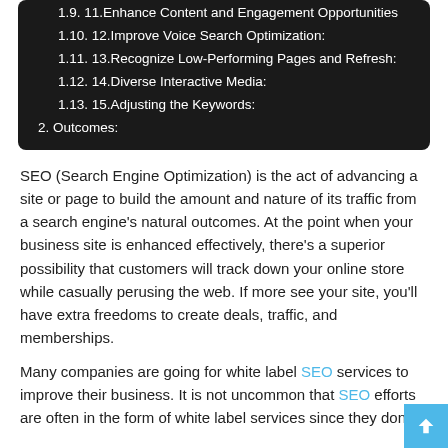1.9. 11.Enhance Content and Engagement Opportunities
1.10. 12.Improve Voice Search Optimization:
1.11. 13.Recognize Low-Performing Pages and Refresh:
1.12. 14.Diverse Interactive Media:
1.13. 15.Adjusting the Keywords:
2. Outcomes:
SEO (Search Engine Optimization) is the act of advancing a site or page to build the amount and nature of its traffic from a search engine's natural outcomes. At the point when your business site is enhanced effectively, there's a superior possibility that customers will track down your online store while casually perusing the web. If more see your site, you'll have extra freedoms to create deals, traffic, and memberships.
Many companies are going for white label SEO services to improve their business. It is not uncommon that SEO efforts are often in the form of white label services since they don't